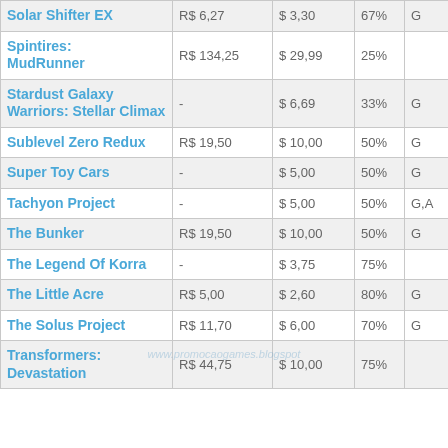| Game | R$ | $ | % |  |
| --- | --- | --- | --- | --- |
| Solar Shifter EX | R$ 6,27 | $ 3,30 | 67% | G |
| Spintires: MudRunner | R$ 134,25 | $ 29,99 | 25% |  |
| Stardust Galaxy Warriors: Stellar Climax | - | $ 6,69 | 33% | G |
| Sublevel Zero Redux | R$ 19,50 | $ 10,00 | 50% | G |
| Super Toy Cars | - | $ 5,00 | 50% | G |
| Tachyon Project | - | $ 5,00 | 50% | G,A |
| The Bunker | R$ 19,50 | $ 10,00 | 50% | G |
| The Legend Of Korra | - | $ 3,75 | 75% |  |
| The Little Acre | R$ 5,00 | $ 2,60 | 80% | G |
| The Solus Project | R$ 11,70 | $ 6,00 | 70% | G |
| Transformers: Devastation | R$ 44,75 | $ 10,00 | 75% |  |